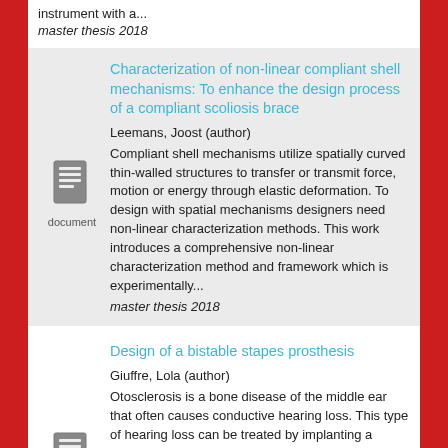instrument with a...
master thesis 2018
Characterization of non-linear compliant shell mechanisms: To enhance the design process of a compliant scoliosis brace
Leemans, Joost (author)
Compliant shell mechanisms utilize spatially curved thin-walled structures to transfer or transmit force, motion or energy through elastic deformation. To design with spatial mechanisms designers need non-linear characterization methods. This work introduces a comprehensive non-linear characterization method and framework which is experimentally...
master thesis 2018
[Figure (illustration): Document icon with lines]
Design of a bistable stapes prosthesis
Giuffre, Lola (author)
Otosclerosis is a bone disease of the middle ear that often causes conductive hearing loss. This type of hearing loss can be treated by implanting a prosthesis, which replaces the stapes bone and
[Figure (illustration): Document icon with lines]